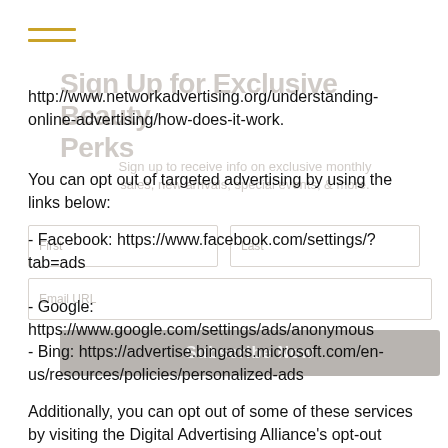[Figure (screenshot): Hamburger menu icon with two golden/amber horizontal lines in top-left corner]
[Figure (screenshot): Partially visible modal overlay: 'Sign Up for Exclusive Beauty Perks' with subtext 'Sign up to receive info on exclusive monthly sales, new arrivals, special events, & more.' and form fields for First, Last, Email, and a Subscribe Now button]
http://www.networkadvertising.org/understanding-online-advertising/how-does-it-work.
You can opt out of targeted advertising by using the links below:
- Facebook: https://www.facebook.com/settings/?tab=ads
- Google: https://www.google.com/settings/ads/anonymous
- Bing: https://advertise.bingads.microsoft.com/en-us/resources/policies/personalized-ads
Additionally, you can opt out of some of these services by visiting the Digital Advertising Alliance's opt-out portal at: http://optout.aboutads.info/.
Do not track